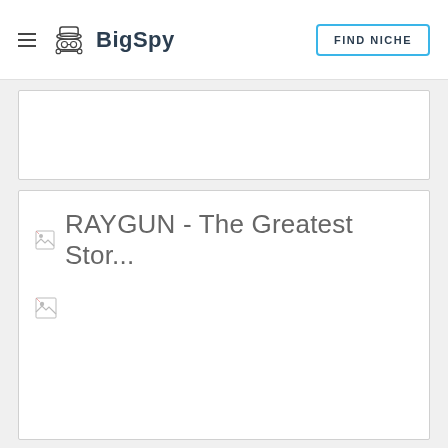BigSpy — FIND NICHE
[Figure (screenshot): Partial white card from previous listing, mostly empty white space]
RAYGUN - The Greatest Stor...
[Figure (photo): Broken image icon placeholder in card]